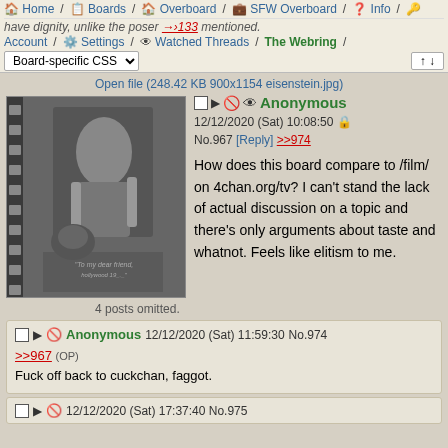[ Home / Boards / Overboard / SFW Overboard / Info / key ] Account / Settings / Watched Threads / The Webring / Board-specific CSS
have dignity, unlike the poser >>133 mentioned.
Open file (248.42 KB 900x1154 eisenstein.jpg)
[Figure (photo): Black and white vintage photograph of a man posing with a Mickey Mouse figure/costume outdoors, with handwritten inscription at bottom.]
Anonymous
12/12/2020 (Sat) 10:08:50
No.967 [Reply] >>974

How does this board compare to /film/ on 4chan.org/tv? I can't stand the lack of actual discussion on a topic and there's only arguments about taste and whatnot. Feels like elitism to me.
4 posts omitted.
Anonymous 12/12/2020 (Sat) 11:59:30 No.974
>>967 (OP)
Fuck off back to cuckchan, faggot.
12/12/2020 (Sat) 17:37:40 No.975